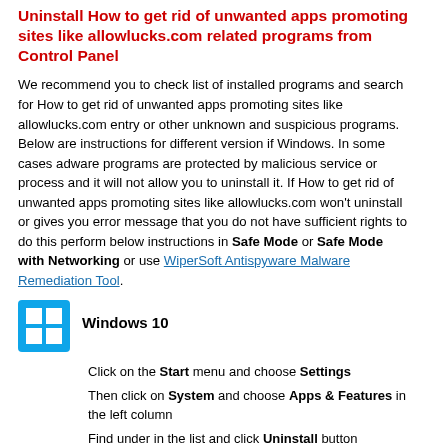Uninstall How to get rid of unwanted apps promoting sites like allowlucks.com related programs from Control Panel
We recommend you to check list of installed programs and search for How to get rid of unwanted apps promoting sites like allowlucks.com entry or other unknown and suspicious programs. Below are instructions for different version if Windows. In some cases adware programs are protected by malicious service or process and it will not allow you to uninstall it. If How to get rid of unwanted apps promoting sites like allowlucks.com won't uninstall or gives you error message that you do not have sufficient rights to do this perform below instructions in Safe Mode or Safe Mode with Networking or use WiperSoft Antispyware Malware Remediation Tool.
[Figure (logo): Windows 10 logo icon - blue square with four white window panes]
Windows 10
Click on the Start menu and choose Settings
Then click on System and choose Apps & Features in the left column
Find under in the list and click Uninstall button